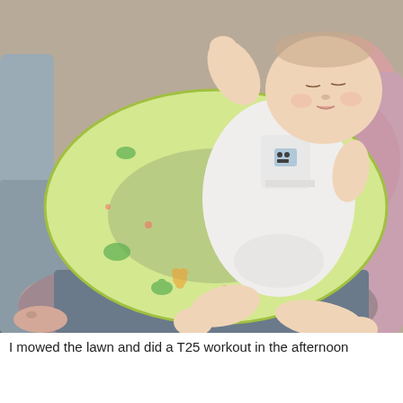[Figure (photo): A sleeping baby in a white onesie with robot print lying on a green and yellow nursing/boppy pillow with cartoon animal patterns. An adult (mother) in a pink nursing bra is seated behind/beside the baby. The scene is indoors on a gray couch.]
I mowed the lawn and did a T25 workout in the afternoon